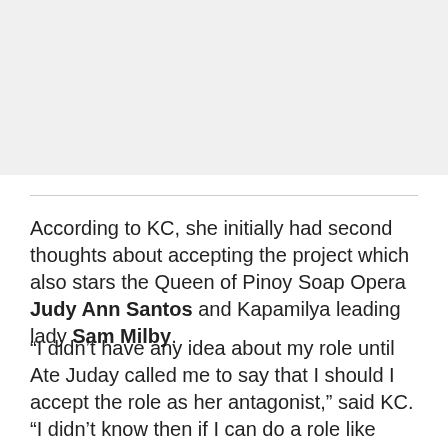[Figure (photo): Image placeholder area at top of page]
According to KC, she initially had second thoughts about accepting the project which also stars the Queen of Pinoy Soap Opera Judy Ann Santos and Kapamilya leading lady Sam Milby.
“I didn’t have any idea about my role until Ate Juday called me to say that I should I accept the role as her antagonist,” said KC. “I didn’t know then if I can do a role like that, but I am very happy now that I took the challenge. Working with Ate Juday has been a